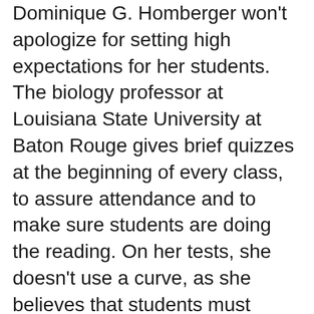Dominique G. Homberger won't apologize for setting high expectations for her students. The biology professor at Louisiana State University at Baton Rouge gives brief quizzes at the beginning of every class, to assure attendance and to make sure students are doing the reading. On her tests, she doesn't use a curve, as she believes that students must achieve mastery of the subject matter, not just achieve more mastery than the worst students in the course. For multiple choice questions, she gives 10 possible answers, not the expected 4, as she doesn't want students to get very far with guessing.
Students in introductory biology don't need to worry about meeting her standards anymore. LSU removed her from teaching, mid-semester, and raised the grades of students in the class.
...
Kevin Carman, dean of the College of Basic Sciences, did not respond to requests for a phone interview Wednesday. But he issued a